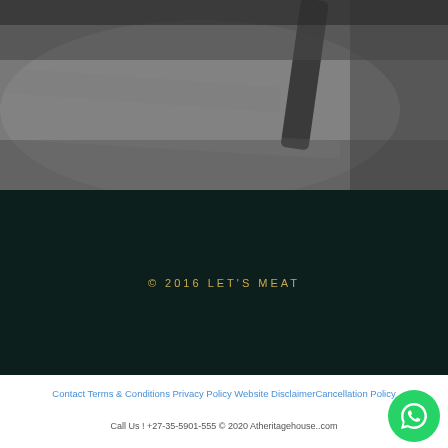[Figure (photo): Blurred/dark photo showing what appears to be a piece of meat or food item on a white surface, with dark overlay]
© 2016 LET'S MEAT
Contact Terms & Conditions Privacy Policy Website DisclaimerCancellation Policy
Call Us ! +27-35-5901-555 © 2020 Atheritagehouse..com